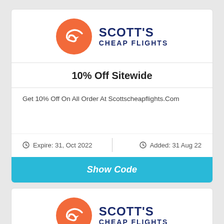[Figure (logo): Scott's Cheap Flights logo with orange circle containing stylized S/arrow and dark blue brand name text]
10% Off Sitewide
Get 10% Off On All Order At Scottscheapflights.Com
Expire: 31, Oct 2022
Added: 31 Aug 22
Show Code
[Figure (logo): Scott's Cheap Flights logo (second instance) with orange circle containing stylized S/arrow and dark blue brand name text]